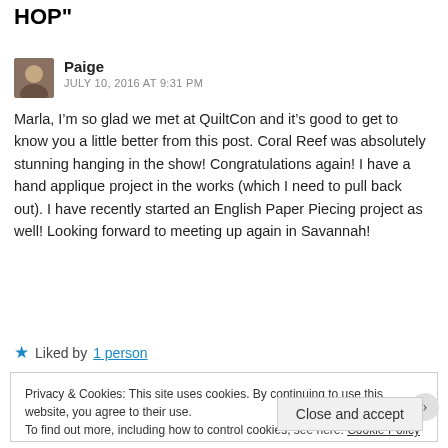HOP"
Paige
JULY 10, 2016 AT 9:31 PM
Marla, I’m so glad we met at QuiltCon and it’s good to get to know you a little better from this post. Coral Reef was absolutely stunning hanging in the show! Congratulations again! I have a hand applique project in the works (which I need to pull back out). I have recently started an English Paper Piecing project as well! Looking forward to meeting up again in Savannah!
Liked by 1 person
Privacy & Cookies: This site uses cookies. By continuing to use this website, you agree to their use.
To find out more, including how to control cookies, see here: Cookie Policy
Close and accept